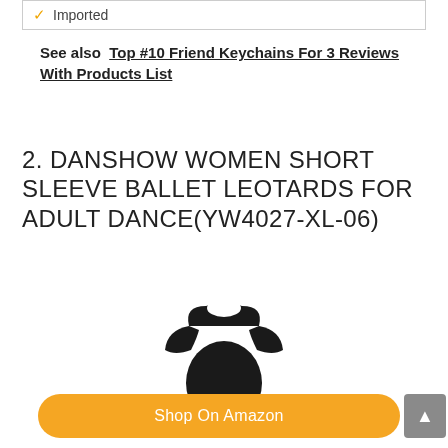✓ Imported
See also  Top #10 Friend Keychains For 3 Reviews With Products List
2. DANSHOW WOMEN SHORT SLEEVE BALLET LEOTARDS FOR ADULT DANCE(YW4027-XL-06)
[Figure (photo): Black short sleeve ballet leotard product photo on white background]
Shop On Amazon